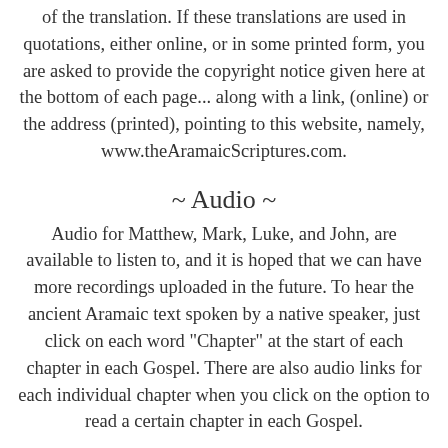of the translation. If these translations are used in quotations, either online, or in some printed form, you are asked to provide the copyright notice given here at the bottom of each page... along with a link, (online) or the address (printed), pointing to this website, namely, www.theAramaicScriptures.com.
~ Audio ~
Audio for Matthew, Mark, Luke, and John, are available to listen to, and it is hoped that we can have more recordings uploaded in the future. To hear the ancient Aramaic text spoken by a native speaker, just click on each word "Chapter" at the start of each chapter in each Gospel. There are also audio links for each individual chapter when you click on the option to read a certain chapter in each Gospel.